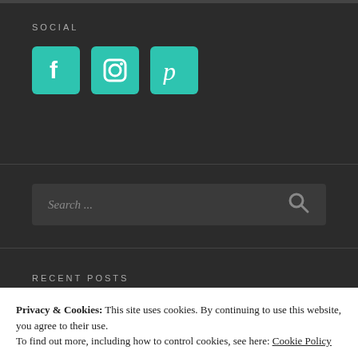SOCIAL
[Figure (illustration): Three teal social media icons: Facebook (f), Instagram (camera), Pinterest (P) each inside a rounded teal square]
Search ...
RECENT POSTS
Privacy & Cookies: This site uses cookies. By continuing to use this website, you agree to their use.
To find out more, including how to control cookies, see here: Cookie Policy
Close and accept